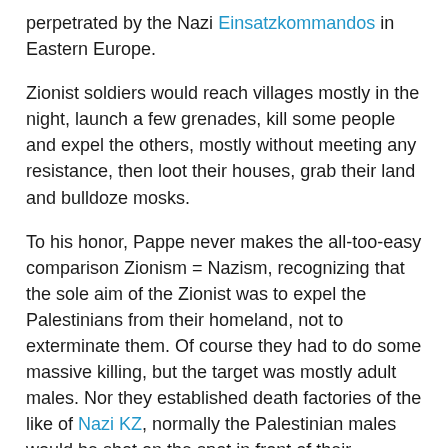perpetrated by the Nazi Einsatzkommandos in Eastern Europe.
Zionist soldiers would reach villages mostly in the night, launch a few grenades, kill some people and expel the others, mostly without meeting any resistance, then loot their houses, grab their land and bulldoze mosks.
To his honor, Pappe never makes the all-too-easy comparison Zionism = Nazism, recognizing that the sole aim of the Zionist was to expel the Palestinians from their homeland, not to exterminate them. Of course they had to do some massive killing, but the target was mostly adult males. Nor they established death factories of the like of Nazi KZ, normally the Palestinian males would be shot on the spot in front of their families, while all the rest of the population was simply driven out in long foot marches to the neighboring countries.
The book also dismounts the Zionist myth of the "Israel besieged by Arabs" and "second Holocaust", showing that the Zionist had always an overwhelming military supremacy,